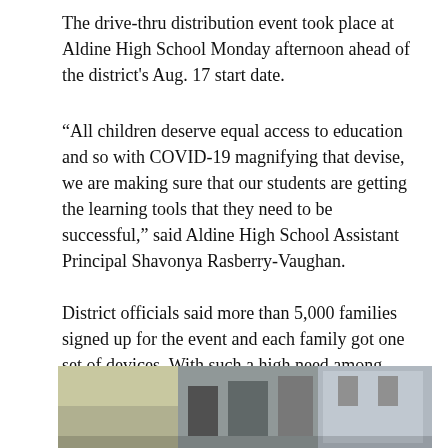The drive-thru distribution event took place at Aldine High School Monday afternoon ahead of the district's Aug. 17 start date.
“All children deserve equal access to education and so with COVID-19 magnifying that devise, we are making sure that our students are getting the learning tools that they need to be successful,” said Aldine High School Assistant Principal Shavonya Rasberry-Vaughan.
District officials said more than 5,000 families signed up for the event and each family got one set of devices. With such a high need among students in the district, officials say they will plan a second event to hand out devices to more students.
[Figure (photo): Partial photo at bottom of page showing a drive-thru distribution event scene, with vehicles and people visible.]